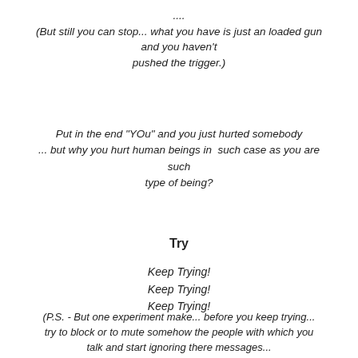....
(But still you can stop... what you have is just an loaded gun and you haven't
pushed the trigger.)
Put in the end "YOu" and you just hurted somebody
... but why you hurt human beings in  such case as you are such
type of being?
Try
Keep Trying!
Keep Trying!
Keep Trying!
(P.S. - But one experiment make... before you keep trying...
try to block or to mute somehow the people with which you
talk and start ignoring there messages...